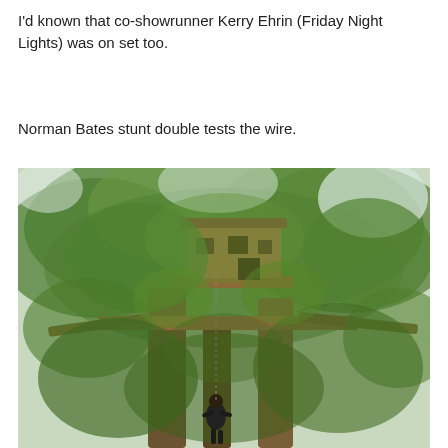I'd known that co-showrunner Kerry Ehrin (Friday Night Lights) was on set too.
Norman Bates stunt double tests the wire.
[Figure (photo): Outdoor photograph of a large tree with a wooden treehouse/platform structure built among its upper branches. A person in dark clothing is visible near the base of the tree trunks, surrounded by dense green foliage.]